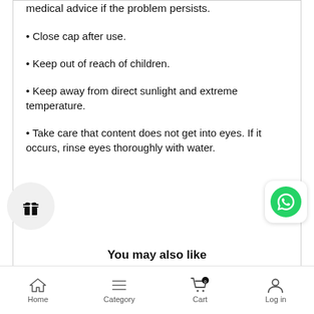medical advice if the problem persists.
• Close cap after use.
• Keep out of reach of children.
• Keep away from direct sunlight and extreme temperature.
• Take care that content does not get into eyes. If it occurs, rinse eyes thoroughly with water.
You may also like
Home  Category  Cart  Log in